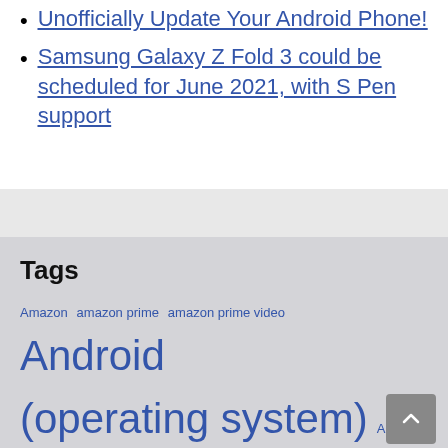Unofficially Update Your Android Phone!
Samsung Galaxy Z Fold 3 could be scheduled for June 2021, with S Pen support
Tags
Amazon amazon prime amazon prime video Android (operating system) Apple Apple Inc. Apple TV Application software epic games Galaxy Note 20 Galaxy S22 Plus Galaxy S22 Ultra Google